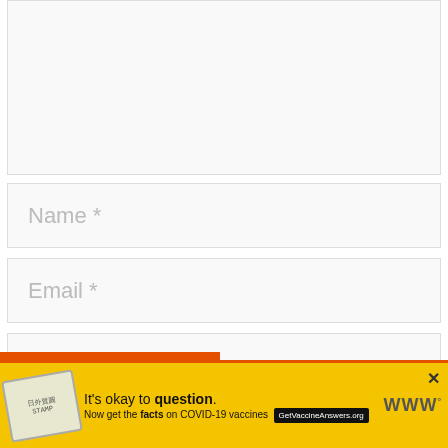[Figure (screenshot): Textarea input box (comment field), empty, light gray background with resize handle at bottom-right]
[Figure (screenshot): Text input field with placeholder 'Name *']
[Figure (screenshot): Text input field with placeholder 'Email *']
[Figure (screenshot): Text input field with placeholder 'Website']
Save my name, email, and website in this browser for the next time I comment.
[Figure (other): Green scroll-to-top button with upward chevron arrow icon]
[Figure (other): Yellow advertisement banner: 'It's okay to question. Now get the facts on COVID-19 vaccines GetVaccineAnswers.org' with stamp logo and close button]